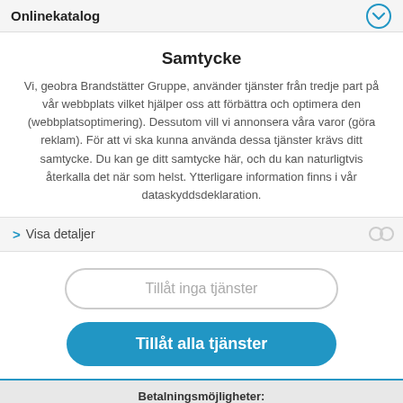Onlinekatalog
Samtycke
Vi, geobra Brandstätter Gruppe, använder tjänster från tredje part på vår webbplats vilket hjälper oss att förbättra och optimera den (webbplatsoptimering). Dessutom vill vi annonsera våra varor (göra reklam). För att vi ska kunna använda dessa tjänster krävs ditt samtycke. Du kan ge ditt samtycke här, och du kan naturligtvis återkalla det när som helst. Ytterligare information finns i vår dataskyddsdeklaration.
Visa detaljer
Tillåt inga tjänster
Tillåt alla tjänster
Betalningsmöjligheter: